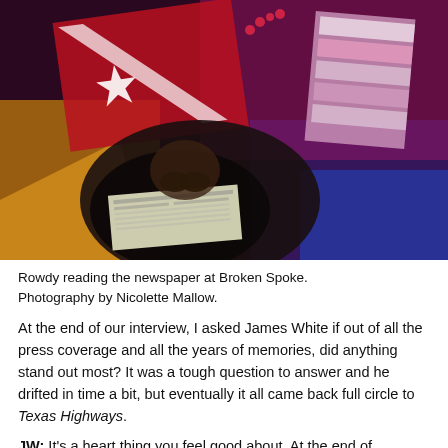[Figure (photo): A dog (Rowdy) sitting and reading a newspaper at Broken Spoke, photographed under colorful purple and blue bar lighting, with a Texas flag or similar red, white and star patterned fabric visible, and stacked magazines/newspapers in the background.]
Rowdy reading the newspaper at Broken Spoke. Photography by Nicolette Mallow.
At the end of our interview, I asked James White if out of all the press coverage and all the years of memories, did anything stand out most? It was a tough question to answer and he drifted in time a bit, but eventually it all came back full circle to Texas Highways.
JW: It's a heart thing you feel good about. At the end of